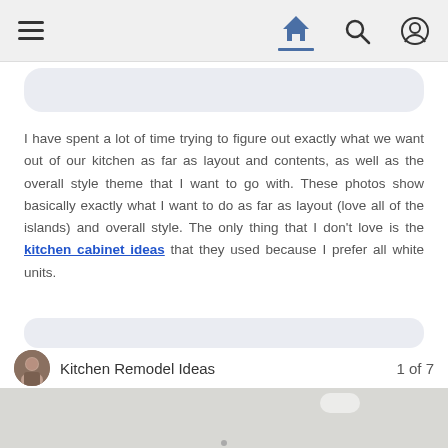Navigation bar with hamburger menu, home icon, search icon, and profile icon
I have spent a lot of time trying to figure out exactly what we want out of our kitchen as far as layout and contents, as well as the overall style theme that I want to go with. These photos show basically exactly what I want to do as far as layout (love all of the islands) and overall style. The only thing that I don't love is the kitchen cabinet ideas that they used because I prefer all white units.
Kitchen Remodel Ideas  1 of 7